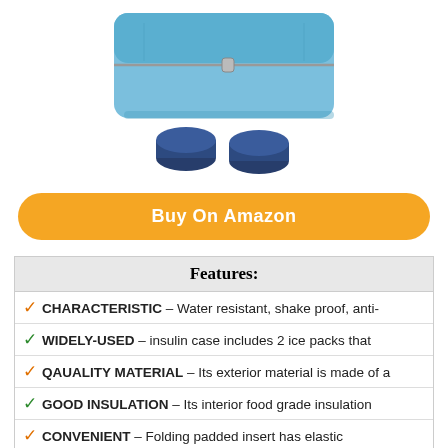[Figure (photo): Product photo showing a blue insulin/medication travel case with zipper and two dark navy blue ice pack cylinders below it]
Buy On Amazon
| Features: |
| --- |
| ✓ CHARACTERISTIC – Water resistant, shake proof, anti- |
| ✓ WIDELY-USED – insulin case includes 2 ice packs that |
| ✓ QAUALITY MATERIAL – Its exterior material is made of a |
| ✓ GOOD INSULATION – Its interior food grade insulation |
| ✓ CONVENIENT – Folding padded insert has elastic |
3. ALLERMATES MEDICAL TRAVEL BAG – 2 IN 1 MEDICATION ORGANIZER INSULATED MEDICINE BAG W/DETACHABLE MINI MEDIC POUCH; HOLDS ALLERGY MEDS